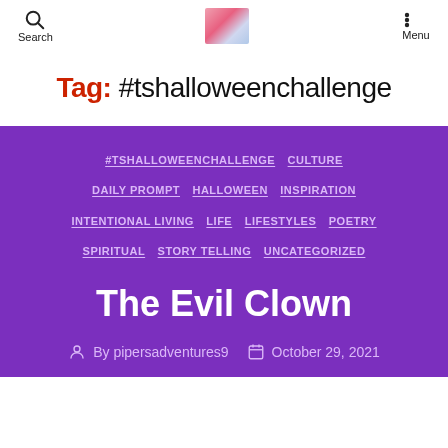Search | [blog logo image] | Menu
Tag: #tshalloweenchallenge
#TSHALLOWEENCHALLENGE  CULTURE  DAILY PROMPT  HALLOWEEN  INSPIRATION  INTENTIONAL LIVING  LIFE  LIFESTYLES  POETRY  SPIRITUAL  STORY TELLING  UNCATEGORIZED
The Evil Clown
By pipersadventures9    October 29, 2021